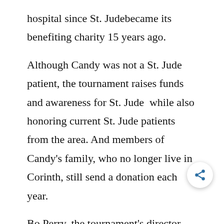hospital since St. Jude became its benefiting charity 15 years ago.
Although Candy was not a St. Jude patient, the tournament raises funds and awareness for St. Jude while also honoring current St. Jude patients from the area. And members of Candy's family, who no longer live in Corinth, still send a donation each year.
Bo Perry, the tournament's director, said the Candy Classic continues each year because of the dedication of local organizers to the St. Jude mis†
“It’s because of the cause it represents more than